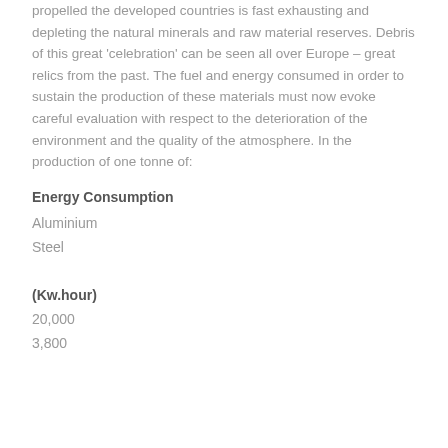propelled the developed countries is fast exhausting and depleting the natural minerals and raw material reserves. Debris of this great 'celebration' can be seen all over Europe – great relics from the past. The fuel and energy consumed in order to sustain the production of these materials must now evoke careful evaluation with respect to the deterioration of the environment and the quality of the atmosphere. In the production of one tonne of:
Energy Consumption
Aluminium
Steel
(Kw.hour)
20,000
3,800